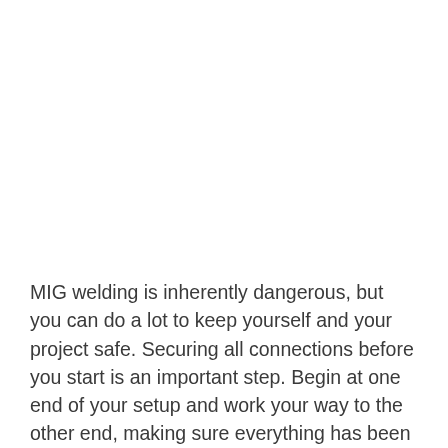MIG welding is inherently dangerous, but you can do a lot to keep yourself and your project safe. Securing all connections before you start is an important step. Begin at one end of your setup and work your way to the other end, making sure everything has been appropriately secured.